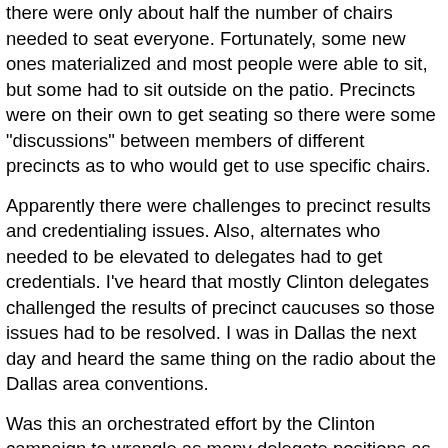there were only about half the number of chairs needed to seat everyone.  Fortunately, some new ones materialized and most people were able to sit, but some had to sit outside on the patio.  Precincts were on their own to get seating so there were some "discussions" between members of different precincts as to who would get to use specific chairs.
Apparently there were challenges to precinct results and credentialing issues.  Also, alternates who needed to be elevated to delegates had to get credentials.  I've heard that mostly Clinton delegates challenged the results of precinct caucuses so those issues had to be resolved.  I was in Dallas the next day and heard the same thing on the radio about the Dallas area conventions.
Was this an orchestrated effort by the Clinton campaign to wrangle as many delegate positions as possible?  They seem upset that even though Clinton got more popular votes in the March 4th Texas primary, Obama will get more delegates.
Sounds like the 2000 presidential election, doesn't it?
The meeting finally began at 2:35pm with a little pomp and circumstance.  Election of officers was next.  Nomination of candidates was closed and then reopened because people couldn't be heard over the constant hum of nearly 4,000...